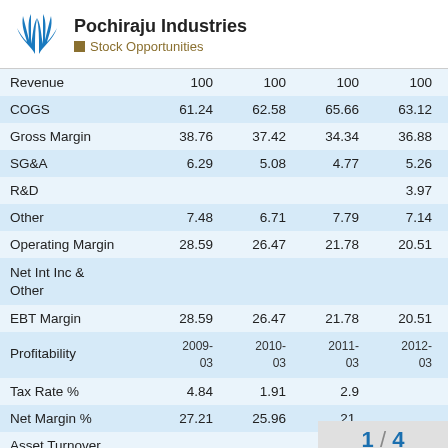Pochiraju Industries — Stock Opportunities
|  | 2009-03 | 2010-03 | 2011-03 | 2012-03 | 2013-03 | 20-03 |
| --- | --- | --- | --- | --- | --- | --- |
| Revenue | 100 | 100 | 100 | 100 | 100 |  |
| COGS | 61.24 | 62.58 | 65.66 | 63.12 | 63.95 |  |
| Gross Margin | 38.76 | 37.42 | 34.34 | 36.88 | 36.05 |  |
| SG&A | 6.29 | 5.08 | 4.77 | 5.26 | 8.92 |  |
| R&D |  |  |  | 3.97 | 2.27 |  |
| Other | 7.48 | 6.71 | 7.79 | 7.14 | 18.54 |  |
| Operating Margin | 28.59 | 26.47 | 21.78 | 20.51 | 6.32 |  |
| Net Int Inc & Other |  |  |  |  |  |  |
| EBT Margin | 28.59 | 26.47 | 21.78 | 20.51 | 6.32 |  |
| Profitability | 2009-03 | 2010-03 | 2011-03 | 2012-03 | 2013-03 | 20-03 |
| Tax Rate % | 4.84 | 1.91 | 2.9 |  | 24.33 |  |
| Net Margin % | 27.21 | 25.96 | 21. |  |  |  |
| Asset Turnover |  |  |  |  |  |  |
1 / 4